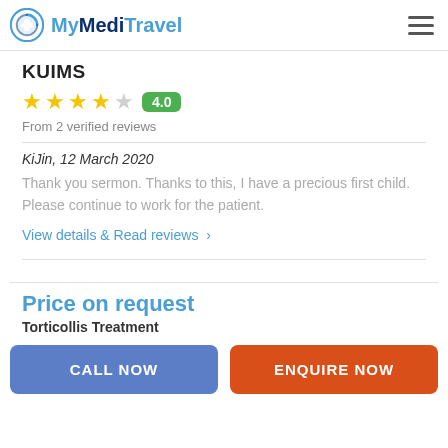MyMediTravel
KUIMS
4.0 — From 2 verified reviews
KiJin, 12 March 2020
Thank you sermon. Thanks to this, I have a precious first child. Please continue to work for the patient.
View details & Read reviews >
Price on request
Torticollis Treatment
CALL NOW
ENQUIRE NOW